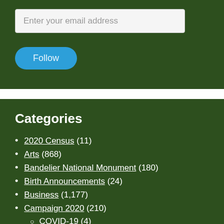Enter your email address
Follow
Categories
2020 Census (11)
Arts (868)
Bandelier National Monument (180)
Birth Announcements (24)
Business (1,177)
Campaign 2020 (210)
COVID-19 (4)